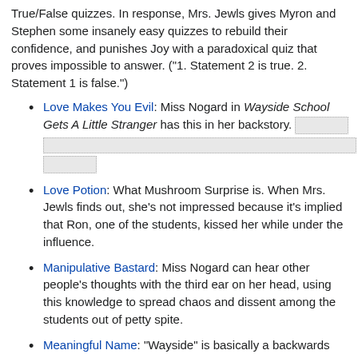True/False quizzes. In response, Mrs. Jewls gives Myron and Stephen some insanely easy quizzes to rebuild their confidence, and punishes Joy with a paradoxical quiz that proves impossible to answer. ("1. Statement 2 is true. 2. Statement 1 is false.")
Love Makes You Evil: Miss Nogard in Wayside School Gets A Little Stranger has this in her backstory. [redacted]
Love Potion: What Mushroom Surprise is. When Mrs. Jewls finds out, she's not impressed because it's implied that Ron, one of the students, kissed her while under the influence.
Manipulative Bastard: Miss Nogard can hear other people's thoughts with the third ear on her head, using this knowledge to spread chaos and dissent among the students out of petty spite.
Meaningful Name: "Wayside" is basically a backwards